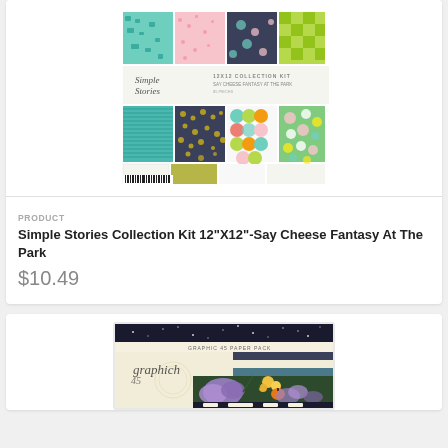[Figure (photo): Simple Stories Collection Kit 12x12 Say Cheese Fantasy At The Park product packaging showing patterned papers with teal, pink, green, and dark backgrounds with various motifs]
PRODUCT
Simple Stories Collection Kit 12"X12"-Say Cheese Fantasy At The Park
$10.49
[Figure (photo): Graphic 45 scrapbook product packaging showing botanical/floral themed papers with purple flowers and yellow pumpkins]